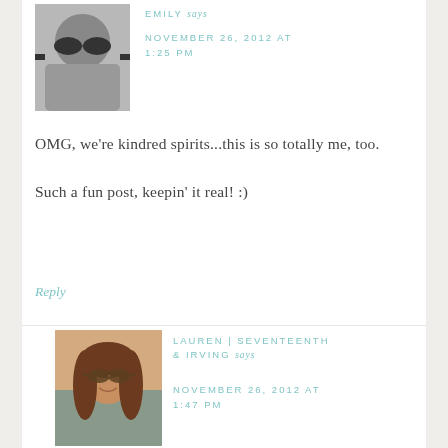[Figure (photo): Black and white photo of a woman wearing sunglasses, cropped close-up]
EMILY says
NOVEMBER 26, 2012 AT 1:25 PM
OMG, we're kindred spirits...this is so totally me, too.
Such a fun post, keepin' it real! :)
Reply
[Figure (photo): Color photo of a smiling woman with long brown hair wearing sunglasses outdoors]
LAUREN | SEVENTEENTH & IRVING says
NOVEMBER 26, 2012 AT 1:47 PM